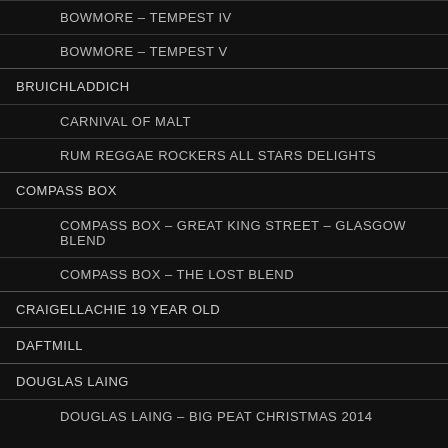BOWMORE – TEMPEST IV
BOWMORE – TEMPEST V
BRUICHLADDICH
CARNIVAL OF MALT
RUM REGGAE ROCKERS ALL STARS DELIGHTS
COMPASS BOX
COMPASS BOX – GREAT KING STREET – GLASGOW BLEND
COMPASS BOX – THE LOST BLEND
CRAIGELLACHIE 19 YEAR OLD
DAFTMILL
DOUGLAS LAING
DOUGLAS LAING – BIG PEAT CHRISTMAS 2014